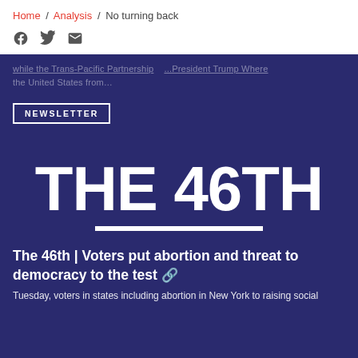Home / Analysis / No turning back
[Figure (other): Social share icons: Facebook, Twitter, Email]
while the Trans-Pacific Partnership the United States from... ...President Trump Where
NEWSLETTER
THE 46TH
The 46th | Voters put abortion and threat to democracy to the test 🔗
Tuesday, voters in states including abortion in New York to raising social...